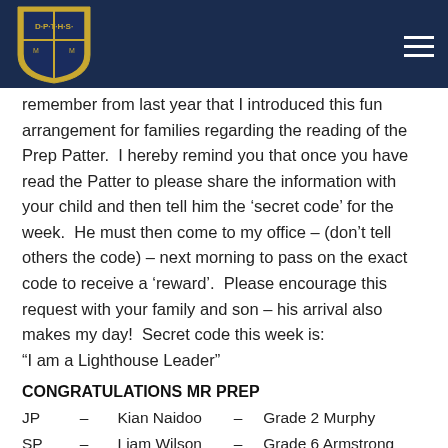DPTHS school logo and navigation header
remember from last year that I introduced this fun arrangement for families regarding the reading of the Prep Patter.  I hereby remind you that once you have read the Patter to please share the information with your child and then tell him the ‘secret code’ for the week.  He must then come to my office – (don’t tell others the code) – next morning to pass on the exact code to receive a ‘reward’.  Please encourage this request with your family and son – his arrival also makes my day!  Secret code this week is:
“I am a Lighthouse Leader”
CONGRATULATIONS MR PREP
JP  –  Kian Naidoo  –  Grade 2 Murphy
SP  –  Liam Wilson  –  Grade 6 Armstrong
HEADMASTERS QUOTE FOR THE WEEK
“This is a wonderful day, I have never seen this one before!”